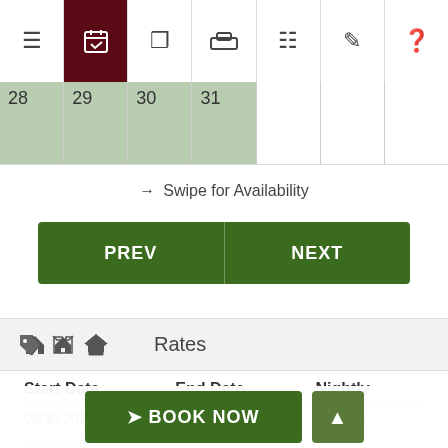[Figure (screenshot): App navigation bar with icons: hamburger menu, calendar (active, dark red background), tag, bed, list, edit, help]
[Figure (screenshot): Calendar strip showing dates 28, 29, 30, 31 in green cells, followed by 3 empty white cells]
↔ Swipe for Availability
[Figure (screenshot): Green button row with PREV on left and NEXT on right]
Rates
| Start Date | End Date | Nightly |
| --- | --- | --- |
| 08/30/2022 | 08/30/2022 | $261.00 |
| 08/31/202... |  |  |
[Figure (screenshot): Bottom bar with green BOOK NOW button and green up-arrow button]